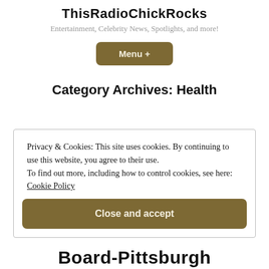ThisRadioChickRocks
Entertainment, Celebrity News, Spotlights, and more!
Menu +
Category Archives: Health
Privacy & Cookies: This site uses cookies. By continuing to use this website, you agree to their use. To find out more, including how to control cookies, see here: Cookie Policy
Close and accept
Board-Pittsburgh